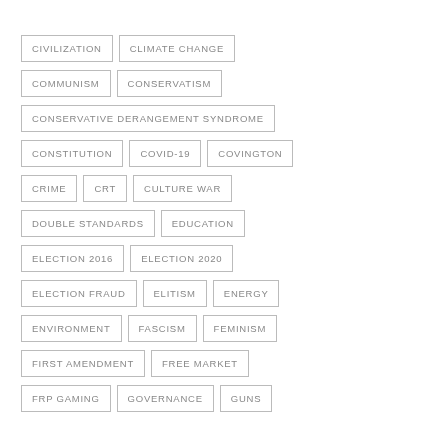CIVILIZATION
CLIMATE CHANGE
COMMUNISM
CONSERVATISM
CONSERVATIVE DERANGEMENT SYNDROME
CONSTITUTION
COVID-19
COVINGTON
CRIME
CRT
CULTURE WAR
DOUBLE STANDARDS
EDUCATION
ELECTION 2016
ELECTION 2020
ELECTION FRAUD
ELITISM
ENERGY
ENVIRONMENT
FASCISM
FEMINISM
FIRST AMENDMENT
FREE MARKET
FRP GAMING
GOVERNANCE
GUNS